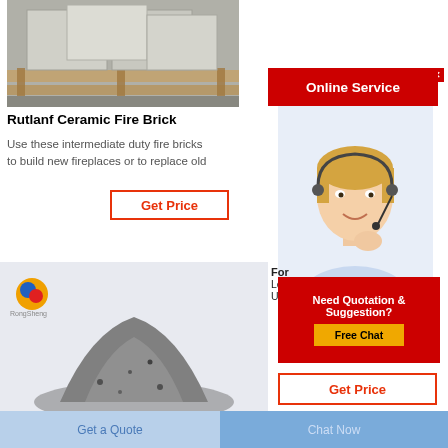[Figure (photo): Photo of ceramic fire bricks stacked on wooden pallet]
Rutlanf Ceramic Fire Brick
Use these intermediate duty fire bricks to build new fireplaces or to replace old
Get Price
[Figure (photo): Photo of gray refractory powder/cement pile with RongSheng logo]
[Figure (photo): Online Service banner with customer service agent photo]
For
Lewi
Up fo
Need Quotation & Suggestion?
Free Chat
Get Price
Get a Quote
Chat Now